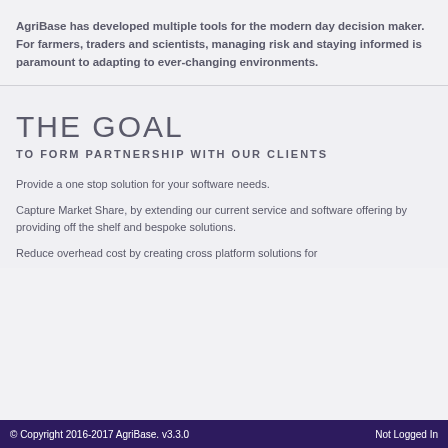AgriBase has developed multiple tools for the modern day decision maker. For farmers, traders and scientists, managing risk and staying informed is paramount to adapting to ever-changing environments.
THE GOAL
TO FORM PARTNERSHIP WITH OUR CLIENTS
Provide a one stop solution for your software needs.
Capture Market Share, by extending our current service and software offering by providing off the shelf and bespoke solutions.
Reduce overhead cost by creating cross platform solutions for
© Copyright 2016-2017 AgriBase. v3.3.0    Not Logged In